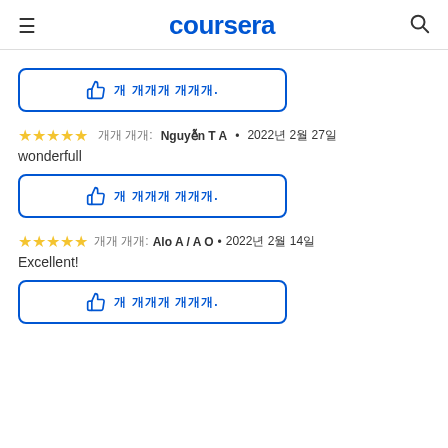coursera
[Figure (other): Like/thumbs-up button with corrupted text: 이 리뷰가 도움이 됩니다.]
★★★★★  작성 자: Nguyễn T A • 2022년 2월 27일
wonderfull
[Figure (other): Like/thumbs-up button with corrupted text: 이 리뷰가 도움이 됩니다.]
★★★★★  작성 자: Alo A / A O • 2022년 2월 14일
Excellent!
[Figure (other): Like/thumbs-up button with corrupted text: 이 리뷰가 도움이 됩니다.]